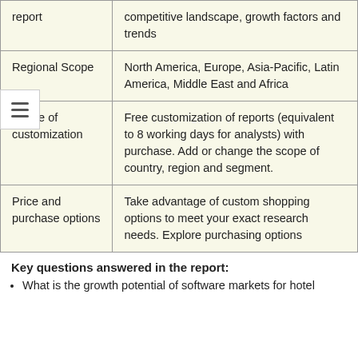|  |  |
| --- | --- |
| report | competitive landscape, growth factors and trends |
| Regional Scope | North America, Europe, Asia-Pacific, Latin America, Middle East and Africa |
| Scope of customization | Free customization of reports (equivalent to 8 working days for analysts) with purchase. Add or change the scope of country, region and segment. |
| Price and purchase options | Take advantage of custom shopping options to meet your exact research needs. Explore purchasing options |
Key questions answered in the report:
What is the growth potential of software markets for hotel